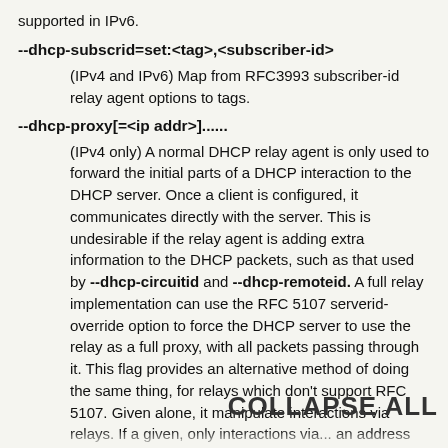supported in IPv6.
--dhcp-subscrid=set:<tag>,<subscriber-id>
(IPv4 and IPv6) Map from RFC3993 subscriber-id relay agent options to tags.
--dhcp-proxy[=<ip addr>]......
(IPv4 only) A normal DHCP relay agent is only used to forward the initial parts of a DHCP interaction to the DHCP server. Once a client is configured, it communicates directly with the server. This is undesirable if the relay agent is adding extra information to the DHCP packets, such as that used by --dhcp-circuitid and --dhcp-remoteid. A full relay implementation can use the RFC 5107 serverid-override option to force the DHCP server to use the relay as a full proxy, with all packets passing through it. This flag provides an alternative method of doing the same thing, for relays which don't support RFC 5107. Given alone, it manipulate interactions via relays. If a given, only interactions via... address are affected.
COLLAPSE ALL